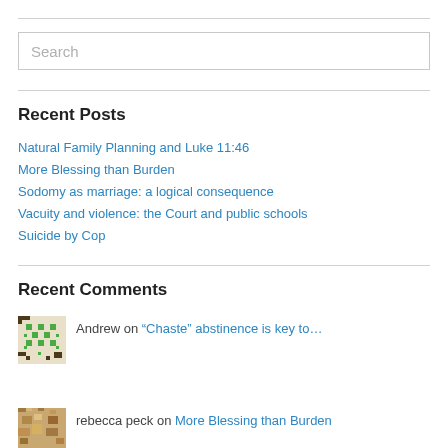Search
Recent Posts
Natural Family Planning and Luke 11:46
More Blessing than Burden
Sodomy as marriage: a logical consequence
Vacuity and violence: the Court and public schools
Suicide by Cop
Recent Comments
Andrew on “Chaste” abstinence is key to…
rebecca peck on More Blessing than Burden